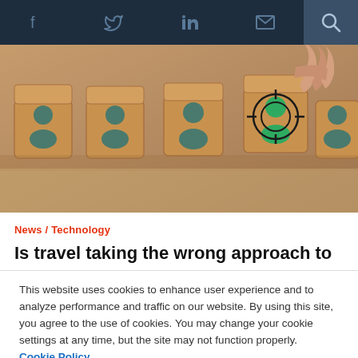Social nav bar with Facebook, Twitter, LinkedIn, Email icons and Search
[Figure (photo): Wooden blocks with person icons, one block has a person with targeting crosshair being placed by a hand]
News / Technology
Is travel taking the wrong approach to
This website uses cookies to enhance user experience and to analyze performance and traffic on our website. By using this site, you agree to the use of cookies. You may change your cookie settings at any time, but the site may not function properly.  Cookie Policy
Close